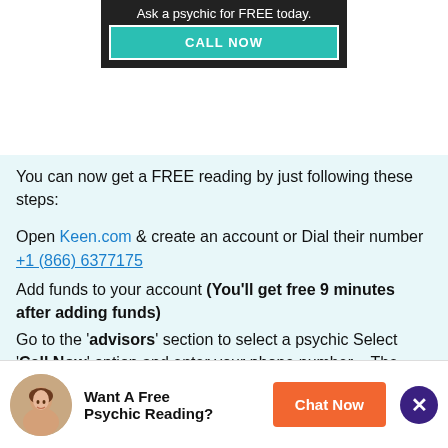[Figure (screenshot): Dark banner with text 'Ask a psychic for FREE today.' and a teal 'CALL NOW' button]
You can now get a FREE reading by just following these steps:
Open Keen.com & create an account or Dial their number +1 (866) 6377175
Add funds to your account (You'll get free 9 minutes after adding funds)
Go to the 'advisors' section to select a psychic Select 'Call Now' option and enter your phone number – The psychic will call you back! Isn't simple!
Note: You can also select CHAT option for a quick response.
[Figure (infographic): Bottom bar with woman avatar, 'Want A Free Psychic Reading?' text, orange 'Chat Now' button, and purple X close button]